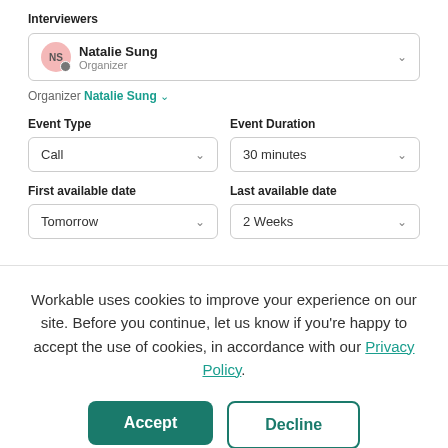Interviewers
NS Natalie Sung Organizer
Organizer Natalie Sung ▾
Event Type
Call
Event Duration
30 minutes
First available date
Tomorrow
Last available date
2 Weeks
Workable uses cookies to improve your experience on our site. Before you continue, let us know if you're happy to accept the use of cookies, in accordance with our Privacy Policy.
Accept
Decline